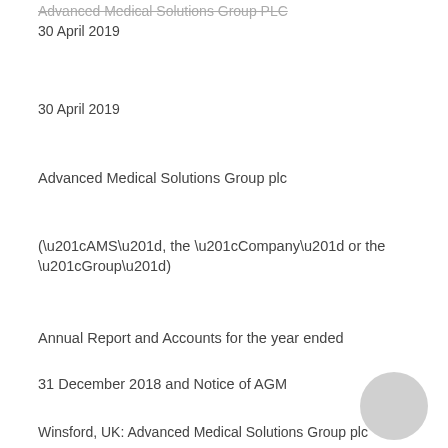Advanced Medical Solutions Group PLC
30 April 2019
30 April 2019
Advanced Medical Solutions Group plc
(“AMS”, the “Company” or the “Group”)
Annual Report and Accounts for the year ended
31 December 2018 and Notice of AGM
Winsford, UK: Advanced Medical Solutions Group plc (AIM: AMS), the surgical and advanced wound care specialist company, is pleased to announce that in accordance with AIM Rules 20 and 26, the Annual Report and Financial Statements for the year ended 31